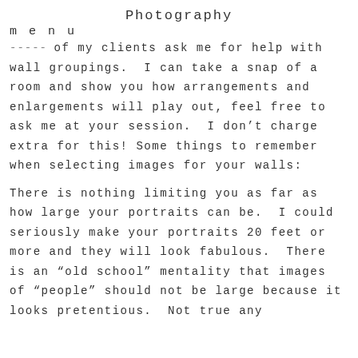Photography
menu
Many of my clients ask me for help with wall groupings.  I can take a snap of a room and show you how arrangements and enlargements will play out, feel free to ask me at your session.  I don't charge extra for this! Some things to remember when selecting images for your walls:
There is nothing limiting you as far as how large your portraits can be.  I could seriously make your portraits 20 feet or more and they will look fabulous.  There is an "old school" mentality that images of "people" should not be large because it looks pretentious.  Not true any